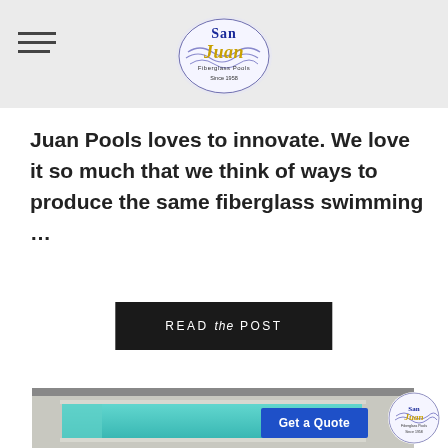[Figure (logo): San Juan Fiberglass Pools logo, circular design with blue and gold text]
Juan Pools loves to innovate. We love it so much that we think of ways to produce the same fiberglass swimming …
READ the POST
[Figure (photo): Aerial view of a rectangular modern fiberglass swimming pool with turquoise water, surrounded by concrete decking, with the San Juan Pools logo and Get a Quote button overlaid]
Get a Quote